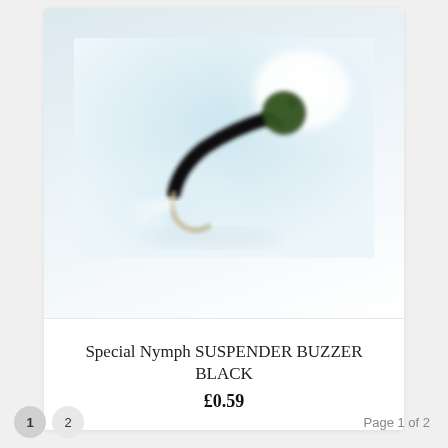[Figure (photo): Close-up photograph of a fly fishing lure called Special Nymph Suspender Buzzer Black. The lure has a black segmented body wrapped with silver wire, a dark green fuzzy thorax, a metallic hook, and white feathery tails. The background is a soft light blue-white blurred bokeh.]
Special Nymph SUSPENDER BUZZER BLACK
£0.59
1  2  Page 1 of 2